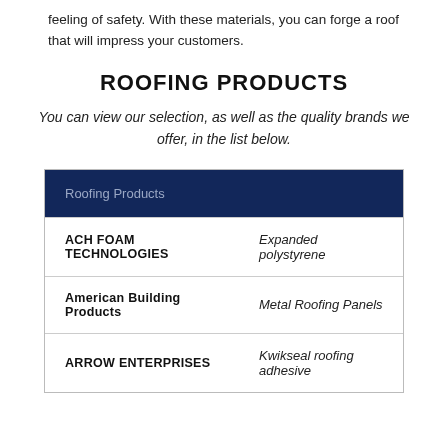feeling of safety. With these materials, you can forge a roof that will impress your customers.
ROOFING PRODUCTS
You can view our selection, as well as the quality brands we offer, in the list below.
| Roofing Products |  |
| --- | --- |
| ACH FOAM TECHNOLOGIES | Expanded polystyrene |
| American Building Products | Metal Roofing Panels |
| ARROW ENTERPRISES | Kwikseal roofing adhesive |